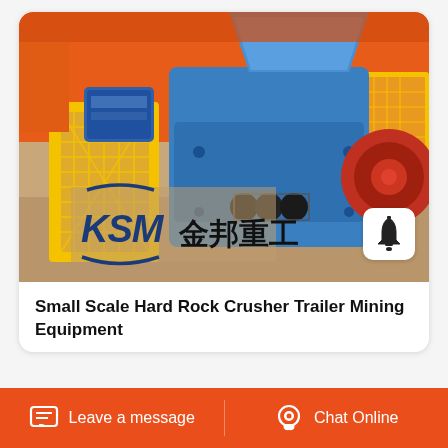[Figure (photo): Industrial double roll crusher / hard rock crusher mining equipment, painted blue and orange, with yellow safety guards/cages on the left and right sides, mounted on a base. A KSM logo and Chinese text '金邦重工' overlaid on the lower-left portion of the image. A white notification bell icon appears in the lower-right corner overlay.]
Small Scale Hard Rock Crusher Trailer Mining Equipment
Leave a message
Chat Online